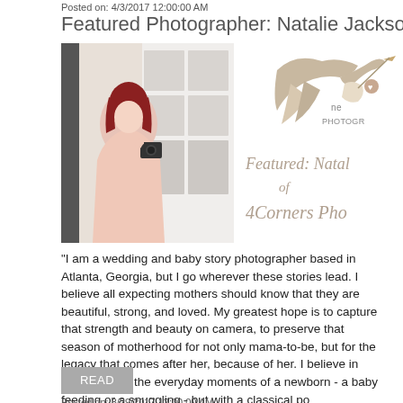Posted on: 4/3/2017 12:00:00 AM
Featured Photographer: Natalie Jackson
[Figure (photo): Woman with red hair wearing a pink dress, holding a camera, standing near white French doors. Photographer portrait.]
[Figure (logo): Newborn photography logo featuring a stork carrying a bundle, with text 'ne PHOTOGR' visible. Below: italic text 'Featured: Natal of 4Corners Pho']
"I am a wedding and baby story photographer based in Atlanta, Georgia, but I go wherever these stories lead. I believe all expecting mothers should know that they are beautiful, strong, and loved. My greatest hope is to capture that strength and beauty on camera, to preserve that season of motherhood for not only mama-to-be, but for the legacy that comes after her, because of her. I believe in documenting the everyday moments of a newborn - a baby feeding or a snuggling - but with a classical po
Posted on: 3/29/2017 12:00:00 AM